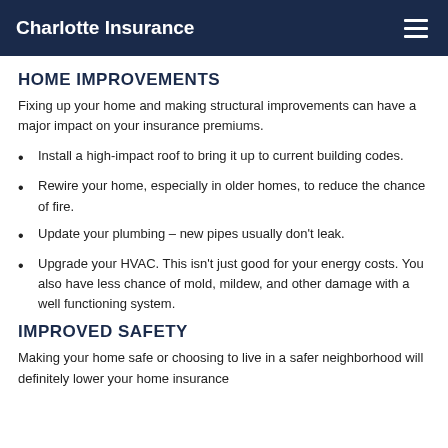Charlotte Insurance
HOME IMPROVEMENTS
Fixing up your home and making structural improvements can have a major impact on your insurance premiums.
Install a high-impact roof to bring it up to current building codes.
Rewire your home, especially in older homes, to reduce the chance of fire.
Update your plumbing – new pipes usually don't leak.
Upgrade your HVAC. This isn't just good for your energy costs. You also have less chance of mold, mildew, and other damage with a well functioning system.
IMPROVED SAFETY
Making your home safe or choosing to live in a safer neighborhood will definitely lower your home insurance